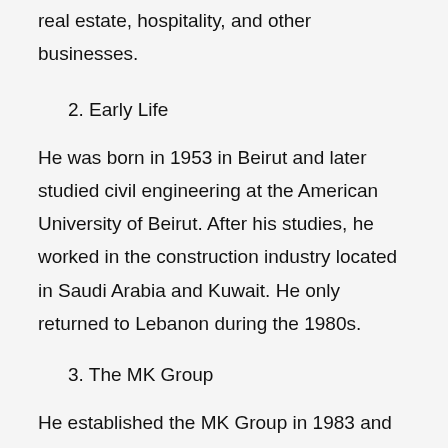real estate, hospitality, and other businesses.
2. Early Life
He was born in 1953 in Beirut and later studied civil engineering at the American University of Beirut. After his studies, he worked in the construction industry located in Saudi Arabia and Kuwait. He only returned to Lebanon during the 1980s.
3. The MK Group
He established the MK Group in 1983 and has since turned it into one of the leading